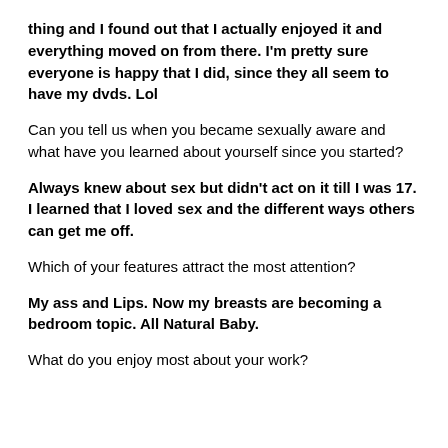thing and I found out that I actually enjoyed it and everything moved on from there. I'm pretty sure everyone is happy that I did, since they all seem to have my dvds. Lol
Can you tell us when you became sexually aware and what have you learned about yourself since you started?
Always knew about sex but didn't act on it till I was 17. I learned that I loved sex and the different ways others can get me off.
Which of your features attract the most attention?
My ass and Lips. Now my breasts are becoming a bedroom topic. All Natural Baby.
What do you enjoy most about your work?